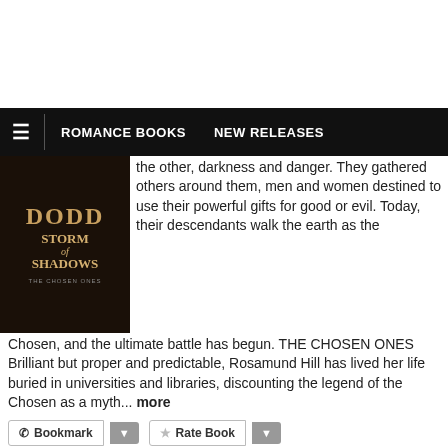≡  ROMANCE BOOKS  NEW RELEASES
[Figure (photo): Book cover for Storm of Shadows by Christina Dodd - The Chosen Ones series, dark background with gold text]
the other, darkness and danger. They gathered others around them, men and women destined to use their powerful gifts for good or evil. Today, their descendants walk the earth as the Chosen, and the ultimate battle has begun. THE CHOSEN ONES Brilliant but proper and predictable, Rosamund Hill has lived her life buried in universities and libraries, discounting the legend of the Chosen as a myth... more
Bookmark  Rate Book
[Figure (photo): Book cover for Chains of Ice by Christina Dodd - showing a shirtless man, orange/red background]
Chains of Ice (The Chosen Ones #3)
Christina Dodd
★★★★☆ · 14 ratings · published 2010